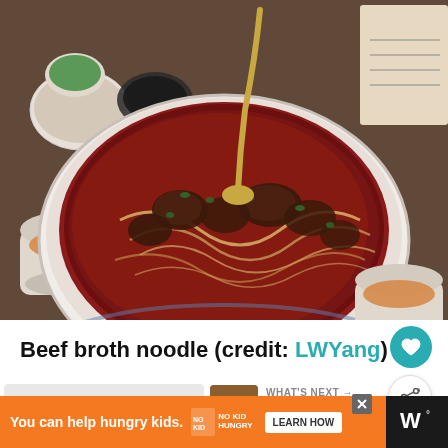[Figure (photo): A large bowl of beef broth noodle soup with noodles, braised beef pieces, and green herbs in a dark reddish-brown broth, served with a golden spoon, accompanied by small side dishes of sauces and tea cups on a dark table.]
Beef broth noodle (credit: LWYang)
WHAT'S NEXT → Does Kimchi Go Bad?
You can help hungry kids. NO KID HUNGRY LEARN HOW